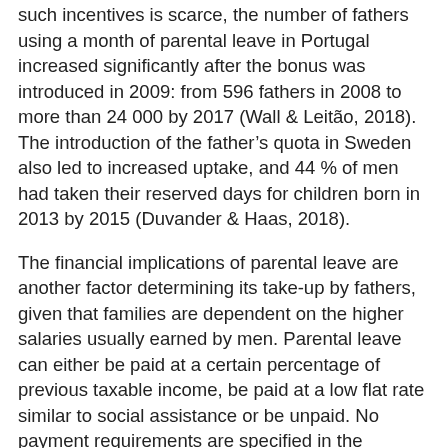such incentives is scarce, the number of fathers using a month of parental leave in Portugal increased significantly after the bonus was introduced in 2009: from 596 fathers in 2008 to more than 24 000 by 2017 (Wall & Leitão, 2018). The introduction of the father's quota in Sweden also led to increased uptake, and 44 % of men had taken their reserved days for children born in 2013 by 2015 (Duvander & Haas, 2018).
The financial implications of parental leave are another factor determining its take-up by fathers, given that families are dependent on the higher salaries usually earned by men. Parental leave can either be paid at a certain percentage of previous taxable income, be paid at a low flat rate similar to social assistance or be unpaid. No payment requirements are specified in the parental leave directive, which means that Member States can choose whether to provide paid or unpaid parental leave or which eligibility criteria to apply for in-com